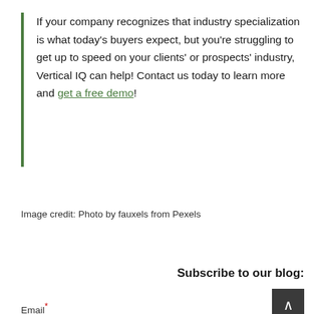If your company recognizes that industry specialization is what today's buyers expect, but you're struggling to get up to speed on your clients' or prospects' industry, Vertical IQ can help! Contact us today to learn more and get a free demo!
Image credit: Photo by fauxels from Pexels
Subscribe to our blog:
Email*